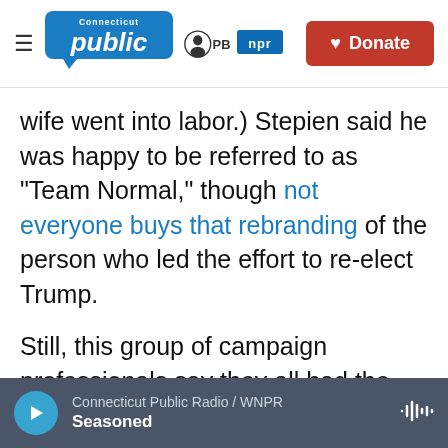Connecticut Public | PBS | NPR | Donate
wife went into labor.) Stepien said he was happy to be referred to as "Team Normal," though not everyone buys that rebranding of the person who led the effort to re-elect Trump.
Still, this group of campaign professionals say they all had the same message: they tried to tell Trump the truth – that the outlook was bleak, he should not declare victory on election night, he was going to lose and that his election fraud claims were, as former Attorney General Bill Barr called
Connecticut Public Radio / WNPR | Seasoned